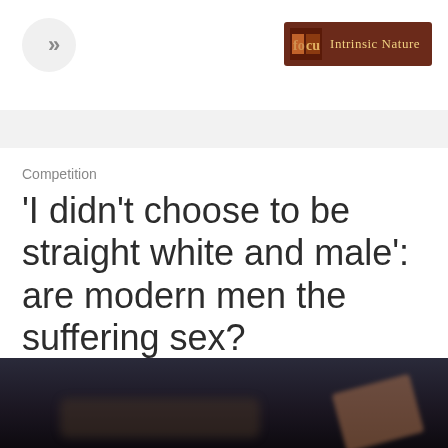>> | Intrinsic Nature
Competition
'I didn't choose to be straight white and male': are modern men the suffering sex?
[Figure (photo): Blurred dark photo at the bottom of the page, showing a dimly lit scene with a figure, dark blue and brown tones.]